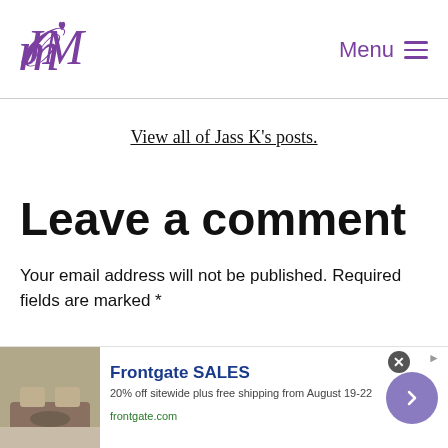[Figure (logo): Stylized cursive 'JM' logo with a small heart, in purple, used as site branding]
Menu ≡
View all of Jass K's posts.
Leave a comment
Your email address will not be published. Required fields are marked *
[Figure (photo): Advertisement banner for Frontgate SALES: 20% off sitewide plus free shipping from August 19-22. Shows outdoor furniture with fire pit. URL: frontgate.com]